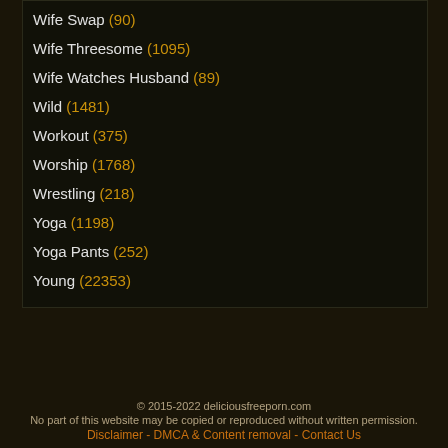Wife Swap (90)
Wife Threesome (1095)
Wife Watches Husband (89)
Wild (1481)
Workout (375)
Worship (1768)
Wrestling (218)
Yoga (1198)
Yoga Pants (252)
Young (22353)
© 2015-2022 deliciousfreeporn.com
No part of this website may be copied or reproduced without written permission.
Disclaimer - DMCA & Content removal - Contact Us